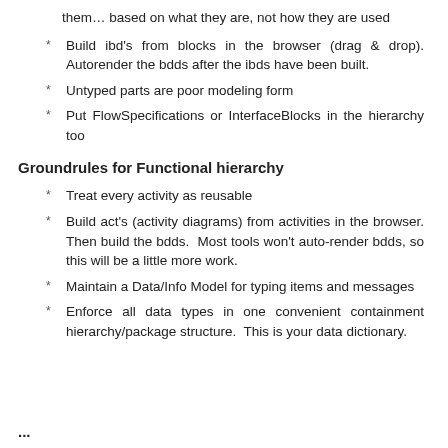them… based on what they are, not how they are used
Build ibd's from blocks in the browser (drag & drop). Autorender the bdds after the ibds have been built.
Untyped parts are poor modeling form
Put FlowSpecifications or InterfaceBlocks in the hierarchy too
Groundrules for Functional hierarchy
Treat every activity as reusable
Build act's (activity diagrams) from activities in the browser. Then build the bdds.  Most tools won't auto-render bdds, so this will be a little more work.
Maintain a Data/Info Model for typing items and messages
Enforce all data types in one convenient containment hierarchy/package structure.  This is your data dictionary.
...